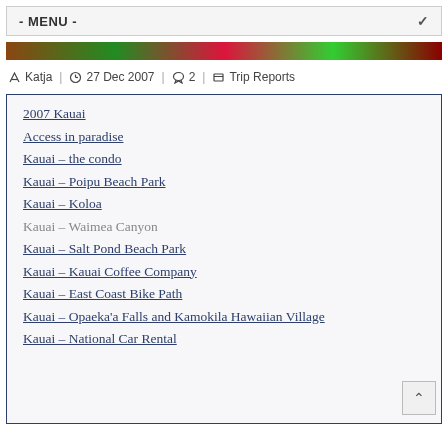- MENU -
[Figure (photo): Partial photo strip showing colorful image at the top of the page]
Katja | 27 Dec 2007 | 2 | Trip Reports
2007 Kauai
Access in paradise
Kauai – the condo
Kauai – Poipu Beach Park
Kauai – Koloa
Kauai – Waimea Canyon
Kauai – Salt Pond Beach Park
Kauai – Kauai Coffee Company
Kauai – East Coast Bike Path
Kauai – Opaeka'a Falls and Kamokila Hawaiian Village
Kauai – National Car Rental